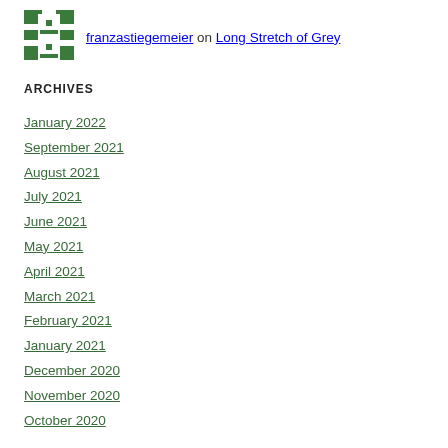[Figure (logo): Green pixelated avatar/logo icon with cross and arrow shapes on white background]
franzastiegemeier on Long Stretch of Grey
ARCHIVES
January 2022
September 2021
August 2021
July 2021
June 2021
May 2021
April 2021
March 2021
February 2021
January 2021
December 2020
November 2020
October 2020